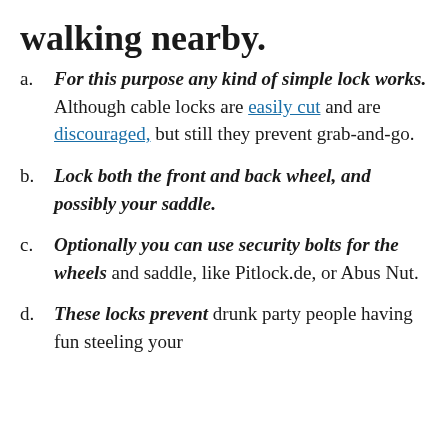walking nearby.
a. For this purpose any kind of simple lock works. Although cable locks are easily cut and are discouraged, but still they prevent grab-and-go.
b. Lock both the front and back wheel, and possibly your saddle.
c. Optionally you can use security bolts for the wheels and saddle, like Pitlock.de, or Abus Nut.
d. These locks prevent drunk party people having fun steeling your